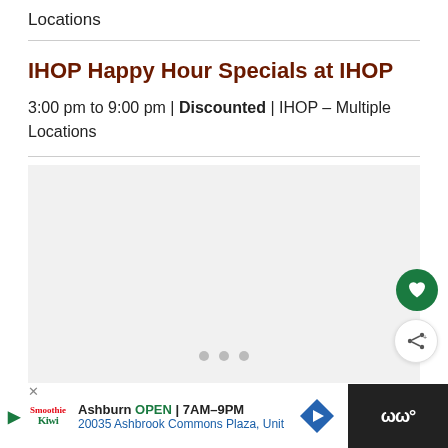Locations
IHOP Happy Hour Specials at IHOP
3:00 pm to 9:00 pm | Discounted | IHOP – Multiple Locations
[Figure (photo): Image carousel area with three navigation dots at the bottom; heart (favorite) and share buttons on the right side]
Ashburn OPEN | 7AM–9PM 20035 Ashbrook Commons Plaza, Unit